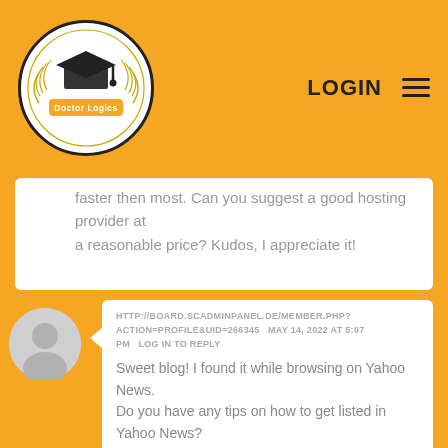[Figure (logo): Doctor Logics logo: oval with graduation cap and banner text]
LOGIN
faster then most. Can you suggest a good hosting provider at a reasonable price? Kudos, I appreciate it!
HTTP://BOARD.SCADMINPANEL.DE/MEMBER.PHP?ACTION=PROFILE&UID=266345   MAY 14, 2022 AT 5:07 PM   LOG IN TO REPLY
Sweet blog! I found it while browsing on Yahoo News.
Do you have any tips on how to get listed in Yahoo News?

I've been trying for a while but I never seem to get there!
Thanks